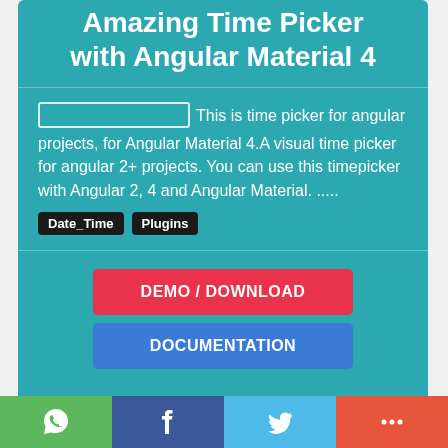Amazing Time Picker with Angular Material 4
This is time picker for angular projects, for Angular Material 4.A visual time picker for angular 2+ projects. You can use this timepicker with Angular 2, 4 and Angular Material. .....
Date_Time
Plugins
DEMO / DOWNLOAD
DOCUMENTATION